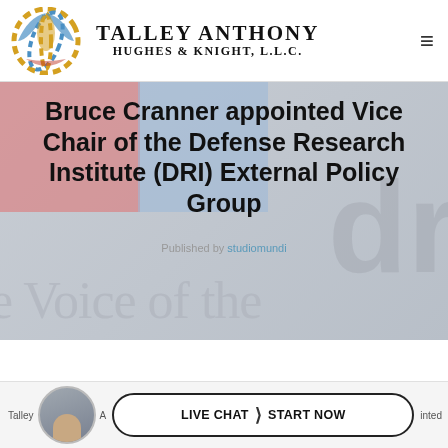[Figure (logo): Talley Anthony Hughes & Knight, L.L.C. law firm logo with circular globe icon in gold and blue dots]
Bruce Cranner appointed Vice Chair of the Defense Research Institute (DRI) External Policy Group
Published by studiomundi
[Figure (screenshot): DRI 'Voice of the' watermark text visible in hero banner background]
[Figure (photo): Headshot photo of Bruce Cranner in footer bar]
LIVE CHAT | START NOW